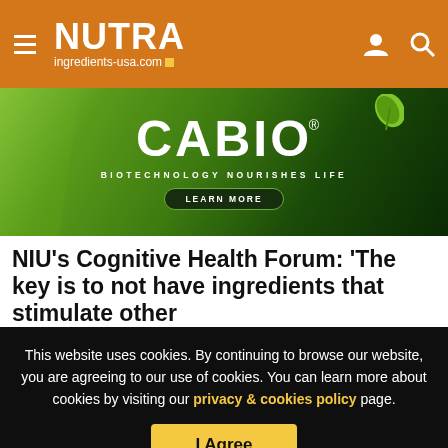NUTRA ingredients-usa.com
[Figure (illustration): CABIO Biotechnology advertisement banner with green gradient background, CABIO logo with leaf icon, tagline 'BIOTECHNOLOGY NOURISHES LIFE', and 'LEARN MORE' button]
NIU's Cognitive Health Forum: 'The key is to not have ingredients that stimulate other
This website uses cookies. By continuing to browse our website, you are agreeing to our use of cookies. You can learn more about cookies by visiting our privacy & cookies policy page.
I Agree